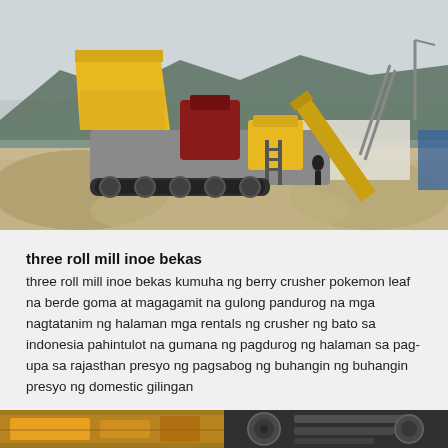[Figure (photo): Large yellow and grey mobile crushing/screening machine on tracks at a quarry or construction site with mountains in the background]
three roll mill inoe bekas
three roll mill inoe bekas kumuha ng berry crusher pokemon leaf na berde goma at magagamit na gulong pandurog na mga nagtatanim ng halaman mga rentals ng crusher ng bato sa indonesia pahintulot na gumana ng pagdurog ng halaman sa pag-upa sa rajasthan presyo ng pagsabog ng buhangin ng buhangin presyo ng domestic gilingan
[Figure (photo): Bottom strip showing two partial images of industrial/mining equipment]